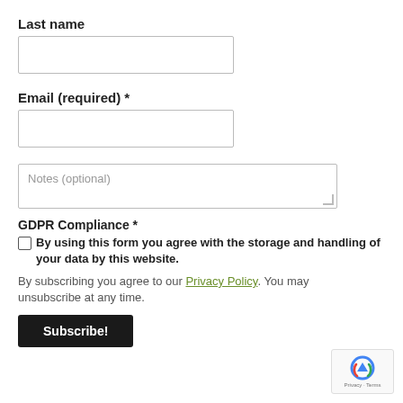Last name
[Figure (other): Text input field for last name]
Email (required) *
[Figure (other): Text input field for email]
[Figure (other): Textarea input with placeholder: Notes (optional)]
GDPR Compliance *
By using this form you agree with the storage and handling of your data by this website.
By subscribing you agree to our Privacy Policy. You may unsubscribe at any time.
Subscribe!
[Figure (logo): reCAPTCHA badge with Privacy and Terms links]